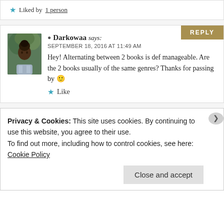★ Liked by 1 person
Darkowaa says:
SEPTEMBER 18, 2016 AT 11:49 AM
Hey! Alternating between 2 books is def manageable. Are the 2 books usually of the same genres? Thanks for passing by 🙂
★ Like
Privacy & Cookies: This site uses cookies. By continuing to use this website, you agree to their use.
To find out more, including how to control cookies, see here: Cookie Policy
Close and accept